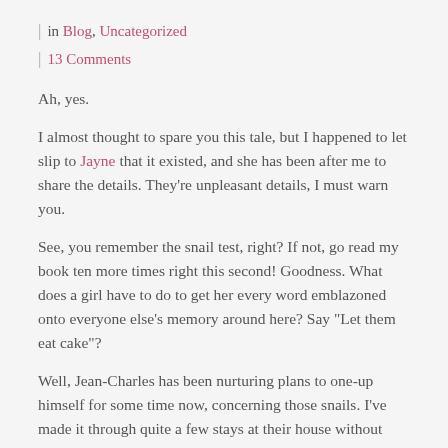| in Blog, Uncategorized
| 13 Comments
Ah, yes.
I almost thought to spare you this tale, but I happened to let slip to Jayne that it existed, and she has been after me to share the details. They’re unpleasant details, I must warn you.
See, you remember the snail test, right? If not, go read my book ten more times right this second! Goodness. What does a girl have to do to get her every word emblazoned onto everyone else’s memory around here? Say “Let them eat cake”?
Well, Jean-Charles has been nurturing plans to one-up himself for some time now, concerning those snails. I’ve made it through quite a few stays at their house without him getting around to it. And this